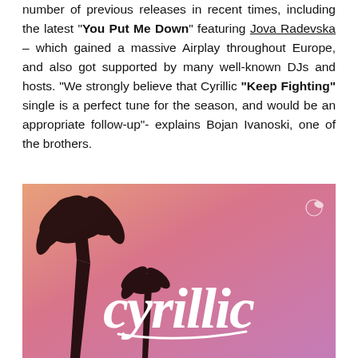number of previous releases in recent times, including the latest "You Put Me Down" featuring Jova Radevska – which gained a massive Airplay throughout Europe, and also got supported by many well-known DJs and hosts. "We strongly believe that Cyrillic "Keep Fighting" single is a perfect tune for the season, and would be an appropriate follow-up"- explains Bojan Ivanoski, one of the brothers.
[Figure (photo): Album artwork for Cyrillic band showing palm tree silhouettes against a warm orange-pink gradient sky, with the word 'cyrillic' written in large white cursive script.]